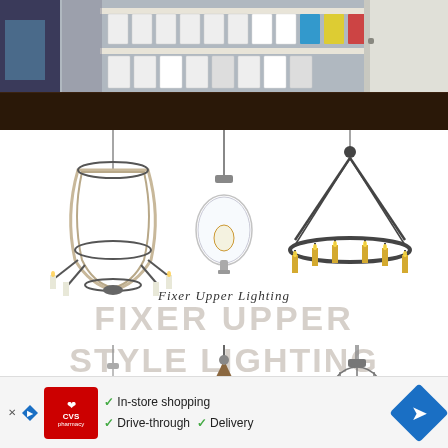[Figure (photo): Top portion of a room photo showing shelves with white paint cans/buckets, a door frame on the right, and a dark hardwood floor at the bottom.]
[Figure (photo): Collage of chandeliers and pendant lights in Fixer Upper style. Top row: wine barrel wood chandelier, clear glass globe pendant, circular iron chandelier with candles. Center text overlay: FIXER UPPER STYLE LIGHTING. Bottom row: crystal/chrome chandelier, wood spoke pendant, industrial cage pendant.]
Fixer Upper Lighting
[Figure (infographic): CVS Pharmacy advertisement banner showing: In-store shopping, Drive-through, Delivery options with checkmarks and navigation arrow icon.]